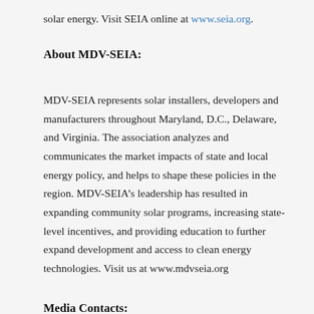solar energy. Visit SEIA online at www.seia.org.
About MDV-SEIA:
MDV-SEIA represents solar installers, developers and manufacturers throughout Maryland, D.C., Delaware, and Virginia. The association analyzes and communicates the market impacts of state and local energy policy, and helps to shape these policies in the region. MDV-SEIA’s leadership has resulted in expanding community solar programs, increasing state-level incentives, and providing education to further expand development and access to clean energy technologies. Visit us at www.mdvseia.org
Media Contacts: